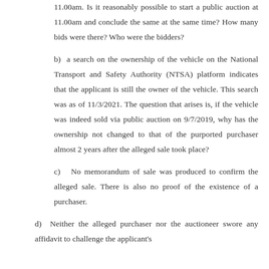11.00am. Is it reasonably possible to start a public auction at 11.00am and conclude the same at the same time? How many bids were there? Who were the bidders?
b) a search on the ownership of the vehicle on the National Transport and Safety Authority (NTSA) platform indicates that the applicant is still the owner of the vehicle. This search was as of 11/3/2021. The question that arises is, if the vehicle was indeed sold via public auction on 9/7/2019, why has the ownership not changed to that of the purported purchaser almost 2 years after the alleged sale took place?
c) No memorandum of sale was produced to confirm the alleged sale. There is also no proof of the existence of a purchaser.
d) Neither the alleged purchaser nor the auctioneer swore any affidavit to challenge the applicant’s